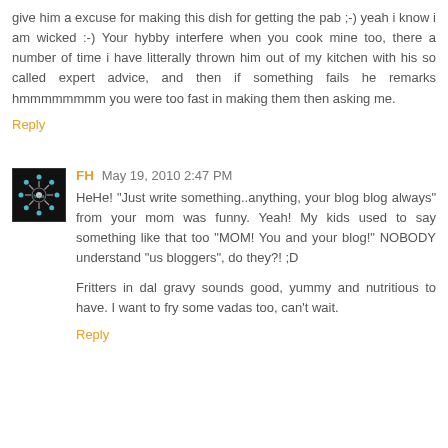give him a excuse for making this dish for getting the pab ;-) yeah i know i am wicked :-) Your hybby interfere when you cook mine too, there a number of time i have litterally thrown him out of my kitchen with his so called expert advice, and then if something fails he remarks hmmmmmmmm you were too fast in making them then asking me.
Reply
FH May 19, 2010 2:47 PM
HeHe! "Just write something..anything, your blog blog always" from your mom was funny. Yeah! My kids used to say something like that too "MOM! You and your blog!" NOBODY understand "us bloggers", do they?! ;D
Fritters in dal gravy sounds good, yummy and nutritious to have. I want to fry some vadas too, can't wait.
Reply